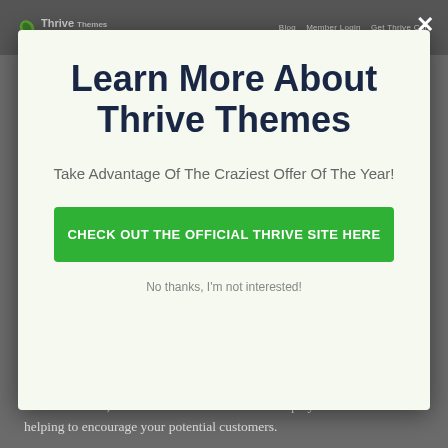Thrive Themes | Blog | Member Login | Get Thrive Cart
[Figure (screenshot): Close button (X) top right of modal]
Learn More About Thrive Themes
Take Advantage Of The Craziest Offer Of The Year!
CHECK OUT THE OFFICIAL THRIVE SITE HERE
No thanks, I'm not interested!
Thrive Ovation is a testimonial monitoring plugin that assists you gather social evidence, such as customer reviews which play a wonderful role in helping to encourage your potential customers.